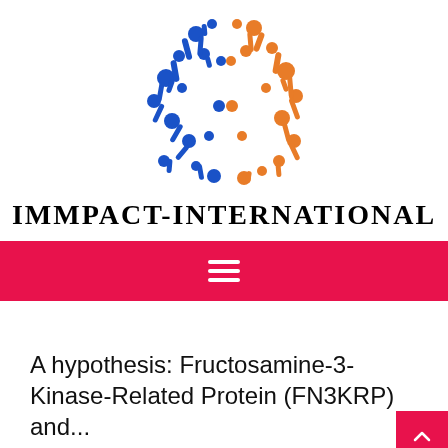[Figure (logo): IMMPACT-INTERNATIONAL logo: abstract neural/molecular network split into blue (left) and orange (right) halves forming a circular shape]
IMMPACT-INTERNATIONAL
[Figure (other): Red navigation bar with white hamburger menu icon (three horizontal lines)]
A hypothesis: Fructosamine-3-Kinase-Related Protein (FN3KRP) and...